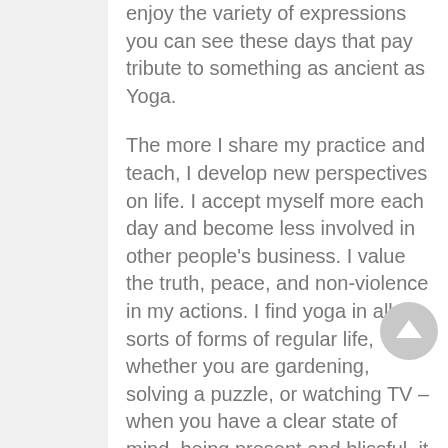enjoy the variety of expressions you can see these days that pay tribute to something as ancient as Yoga.
The more I share my practice and teach, I develop new perspectives on life. I accept myself more each day and become less involved in other people's business. I value the truth, peace, and non-violence in my actions. I find yoga in all sorts of forms of regular life, whether you are gardening, solving a puzzle, or watching TV – when you have a clear state of mind, being present and blissful, it is Yoga! I feel like a peeled onion, layer by layer I shed my cloaks and discover